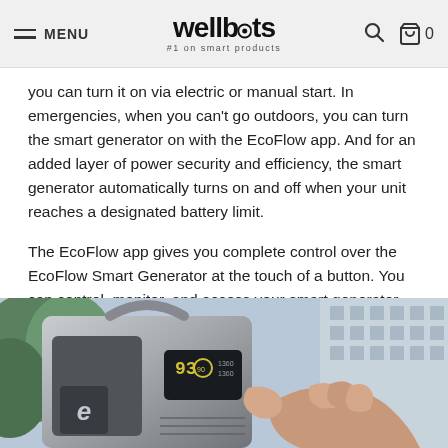MENU | wellbots #1 on smart products | search | cart 0
you can turn it on via electric or manual start. In emergencies, when you can't go outdoors, you can turn the smart generator on with the EcoFlow app. And for an added layer of power security and efficiency, the smart generator automatically turns on and off when your unit reaches a designated battery limit.
The EcoFlow app gives you complete control over the EcoFlow Smart Generator at the touch of a button. You can control, monitor, and access your smart generator settings, such as choosing when it autostarts during an emergency.
[Figure (photo): Photo of an EcoFlow Smart Generator device in grey/silver casing with a handle on top and a digital display showing '93' and battery indicator, with a person's hand reaching toward it. Background shows greenery and a building.]